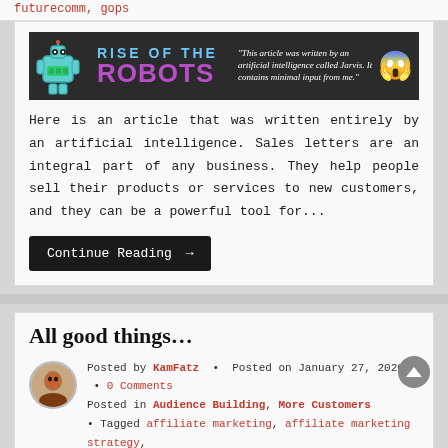futurecomm, gops
[Figure (illustration): Rise of the Robots banner image with robot graphic, purple and blue text, and quote about AI writing the article]
Here is an article that was written entirely by an artificial intelligence. Sales letters are an integral part of any business. They help people sell their products or services to new customers, and they can be a powerful tool for...
Continue Reading →
All good things…
Posted by KamFatz • Posted on January 27, 2020 • 0 Comments
Posted in Audience Building, More Customers • Tagged affiliate marketing, affiliate marketing strategy, internet marketing, tips on internet marketing
[Figure (illustration): Last Chance - Products Retiring - 19 Products banner]